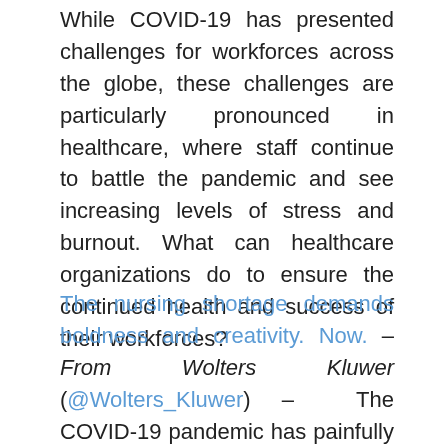While COVID-19 has presented challenges for workforces across the globe, these challenges are particularly pronounced in healthcare, where staff continue to battle the pandemic and see increasing levels of stress and burnout. What can healthcare organizations do to ensure the continued health and success of their workforces?
The nursing shortage demands boldness and creativity. Now. – From Wolters Kluwer (@Wolters_Kluwer) – The COVID-19 pandemic has painfully exacerbated this country's nursing shortage, but let's be honest: we all knew this shortage was coming, pandemic or not. We should have been better prepared. Now we are paying the price with staffing gaps that affect the care of our